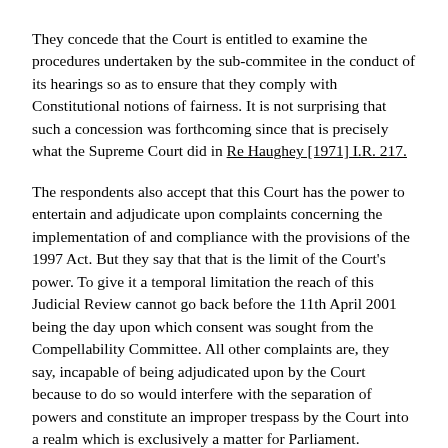They concede that the Court is entitled to examine the procedures undertaken by the sub-commitee in the conduct of its hearings so as to ensure that they comply with Constitutional notions of fairness. It is not surprising that such a concession was forthcoming since that is precisely what the Supreme Court did in Re Haughey [1971] I.R. 217.
The respondents also accept that this Court has the power to entertain and adjudicate upon complaints concerning the implementation of and compliance with the provisions of the 1997 Act. But they say that that is the limit of the Court's power. To give it a temporal limitation the reach of this Judicial Review cannot go back before the 11th April 2001 being the day upon which consent was sought from the Compellability Committee. All other complaints are, they say, incapable of being adjudicated upon by the Court because to do so would interfere with the separation of powers and constitute an improper trespass by the Court into a realm which is exclusively a matter for Parliament.
The Attorney General takes a slightly different view. He contends that the Court can examine and construe the various orders and resolutions which concern the sub-committee insofar as they relate to the operation of the statutory powers